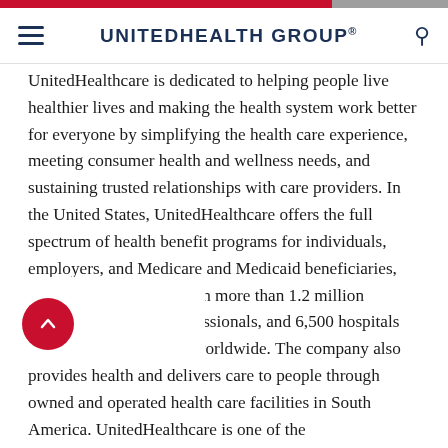UnitedHealth Group®
UnitedHealthcare is dedicated to helping people live healthier lives and making the health system work better for everyone by simplifying the health care experience, meeting consumer health and wellness needs, and sustaining trusted relationships with care providers. In the United States, UnitedHealthcare offers the full spectrum of health benefit programs for individuals, employers, and Medicare and Medicaid beneficiaries, and contracts directly with more than 1.2 million physicians and care professionals, and 6,500 hospitals and other care facilities worldwide. The company also provides health and delivers care to people through owned and operated health care facilities in South America. UnitedHealthcare is one of the